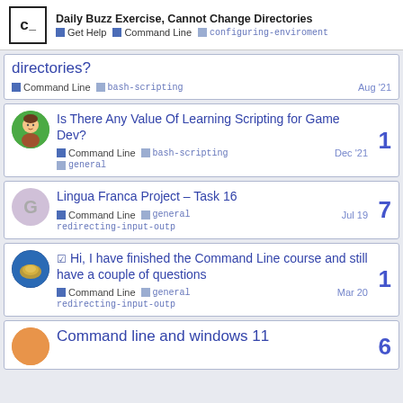Daily Buzz Exercise, Cannot Change Directories | Get Help | Command Line | configuring-enviroment
directories? | Command Line | bash-scripting | Aug '21
Is There Any Value Of Learning Scripting for Game Dev? | Command Line | bash-scripting | general | Dec '21 | replies: 1
Lingua Franca Project - Task 16 | Command Line | general | redirecting-input-outp | Jul 19 | replies: 7
Hi, I have finished the Command Line course and still have a couple of questions | Command Line | general | redirecting-input-outp | Mar 20 | replies: 1
Command line and windows 11 | replies: 6